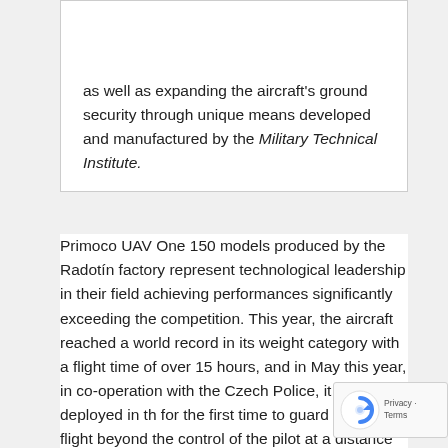as well as expanding the aircraft's ground security through unique means developed and manufactured by the Military Technical Institute.
Primoco UAV One 150 models produced by the Radotín factory represent technological leadership in their field achieving performances significantly exceeding the competition. This year, the aircraft reached a world record in its weight category with a flight time of over 15 hours, and in May this year, in co-operation with the Czech Police, it was also deployed in th for the first time to guard borders in flight beyond the control of the pilot at a distance of